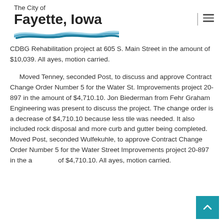The City of Fayette, Iowa
CDBG Rehabilitation project at 605 S. Main Street in the amount of $10,039. All ayes, motion carried.
Moved Tenney, seconded Post, to discuss and approve Contract Change Order Number 5 for the Water St. Improvements project 20-897 in the amount of $4,710.10. Jon Biederman from Fehr Graham Engineering was present to discuss the project. The change order is a decrease of $4,710.10 because less tile was needed. It also included rock disposal and more curb and gutter being completed. Moved Post, seconded Wulfekuhle, to approve Contract Change Order Number 5 for the Water Street Improvements project 20-897 in the amount of $4,710.10. All ayes, motion carried.